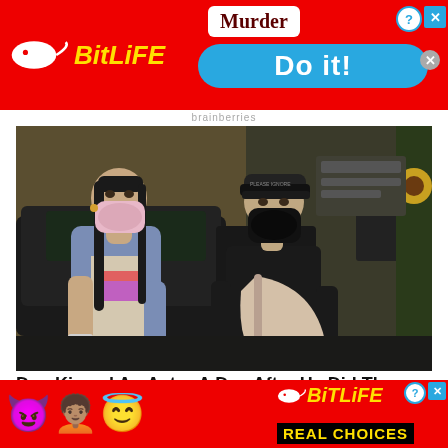[Figure (screenshot): BitLife game advertisement banner with red background showing logo on left and 'Murder / Do it!' prompt on right with close buttons]
brainberries
[Figure (photo): Two people wearing face masks walking outdoors at night, woman on left wearing blue vest and light shirt, man on right wearing black cap, black mask, black top, and carrying a beige sling bag with a dark vehicle in background]
Dua Kissed An Actor A Day After He Did The Same
[Figure (screenshot): BitLife bottom advertisement with red background showing devil emoji, woman emoji, angel emoji on left and BitLife logo with 'REAL CHOICES' text on right]